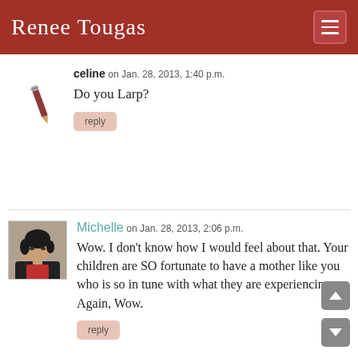Renee Tougas
celine on Jan. 28, 2013, 1:40 p.m.
Do you Larp?
reply
Michelle on Jan. 28, 2013, 2:06 p.m.
Wow. I don't know how I would feel about that. Your children are SO fortunate to have a mother like you who is so in tune with what they are experiencing. Again, Wow.
reply